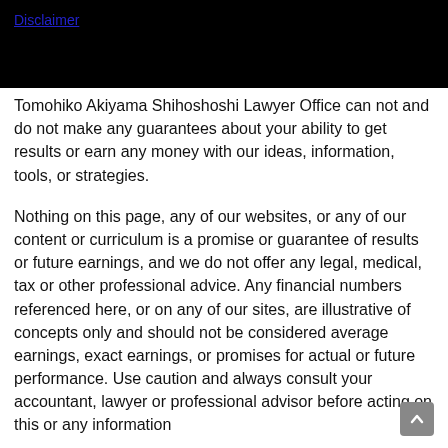Disclaimer
Tomohiko Akiyama Shihoshoshi Lawyer Office can not and do not make any guarantees about your ability to get results or earn any money with our ideas, information, tools, or strategies.
Nothing on this page, any of our websites, or any of our content or curriculum is a promise or guarantee of results or future earnings, and we do not offer any legal, medical, tax or other professional advice. Any financial numbers referenced here, or on any of our sites, are illustrative of concepts only and should not be considered average earnings, exact earnings, or promises for actual or future performance. Use caution and always consult your accountant, lawyer or professional advisor before acting on this or any information